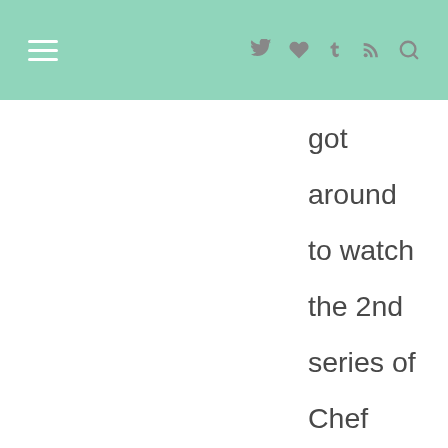≡  🐦 ♥ t ⌘ 🔍
got around to watch the 2nd series of Chef Nic. I saw bits of it and didn't like the addition of the new cast. :S Might wait to